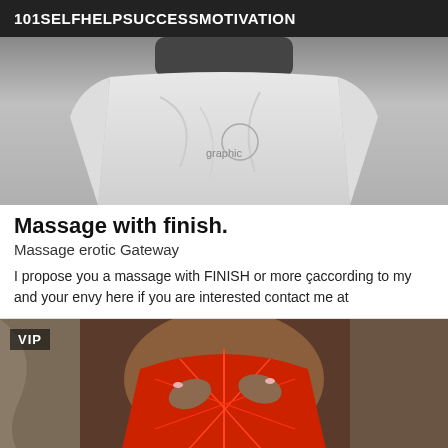101SELFHELPSUCCESSMOTIVATION
[Figure (photo): Black and white photo of a person wearing a white graphic t-shirt, torso visible]
Massage with finish.
Massage erotic Gateway
I propose you a massage with FINISH or more çaccording to my and your envy here if you are interested contact me at
[Figure (photo): Photo of a person in red lingerie, VIP badge overlay in top left corner]